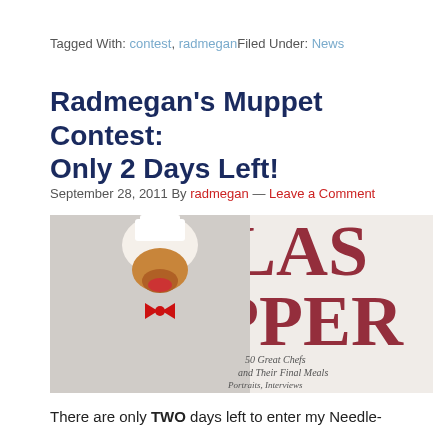Tagged With: contest, radmeganFiled Under: News
Radmegan’s Muppet Contest: Only 2 Days Left!
September 28, 2011 By radmegan — Leave a Comment
[Figure (photo): A Muppet chef figure holding a book titled 'My Last Supper: 50 Great Chefs and Their Final Meals, Portraits, Interviews and Recipes']
There are only TWO days left to enter my Needle-